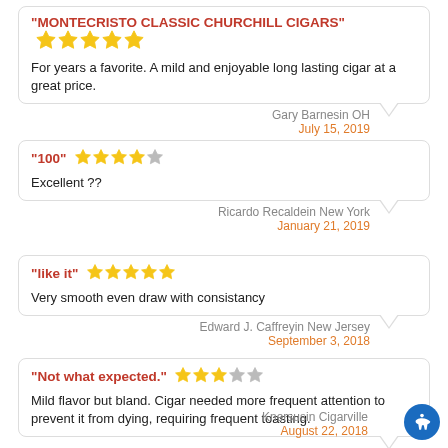"MONTECRISTO CLASSIC CHURCHILL CIGARS" ★★★★★
For years a favorite. A mild and enjoyable long lasting cigar at a great price.
Gary Barnesin OH
July 15, 2019
"100" ★★★★☆
Excellent ??
Ricardo Recaldein New York
January 21, 2019
"like it" ★★★★★
Very smooth even draw with consistancy
Edward J. Caffreyin New Jersey
September 3, 2018
"Not what expected." ★★★☆☆
Mild flavor but bland. Cigar needed more frequent attention to prevent it from dying, requiring frequent toasting.
Knersusin Cigarville
August 22, 2018